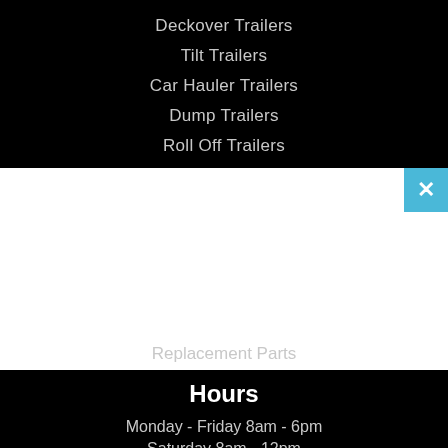Deckover Trailers
Tilt Trailers
Car Hauler Trailers
Dump Trailers
Roll Off Trailers
Replacement Parts
Hours
Monday - Friday 8am - 6pm
Saturday 8am - 12pm